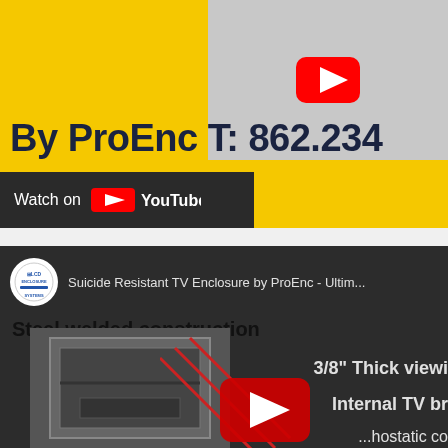[Figure (screenshot): YouTube video thumbnail showing ProEnc TV enclosure on yellow background with text 'By ProEnc T: 862.234...' and YouTube Watch On bar at bottom left]
[Figure (screenshot): YouTube video thumbnail for 'Suicide Resistant TV Enclosure by ProEnc - Ultimate...' with dark background showing steel enclosure image, annotations: 'Steel welded construction', '3/8 Thick viewing...', 'Internal TV br...', '...hostatic co...' with YouTube play button overlay]